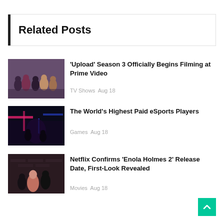Related Posts
[Figure (photo): Group of people posing - Upload Season 3 show cast]
'Upload' Season 3 Officially Begins Filming at Prime Video
TV Shows  Aug 18
[Figure (photo): Dark gaming arena with neon lights - eSports setting]
The World's Highest Paid eSports Players
Games  Aug 18
[Figure (photo): Netflix Enola Holmes 2 scene with characters in dark setting]
Netflix Confirms 'Enola Holmes 2' Release Date, First-Look Revealed
Movies  Aug 18